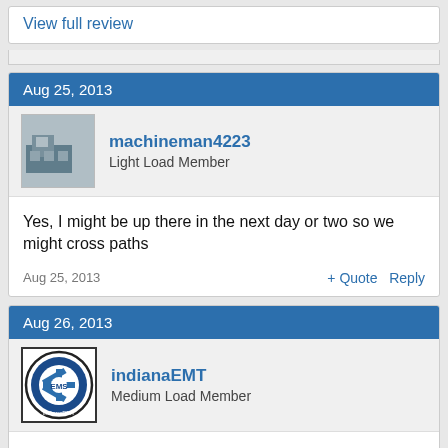View full review
Aug 25, 2013
machineman4223
Light Load Member
Yes, I might be up there in the next day or two so we might cross paths
Aug 25, 2013
+ Quote  Reply
Aug 26, 2013
indianaEMT
Medium Load Member
Not off to a good start so far... My roommate snores and